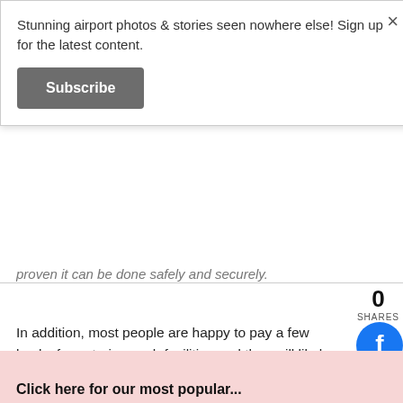Stunning airport photos & stories seen nowhere else! Sign up for the latest content.
Subscribe
proven it can be done safely and securely.
0 SHARES
In addition, most people are happy to pay a few bucks for entering such facilities and they will likely buy food and drink at the airport as well. Thus, also from a financial point of view it makes sense!
Which airport observation deck is or was your favorite? Tell us in the comments below!
[Figure (infographic): Social media share buttons: Facebook (blue circle with f), Twitter (cyan circle with bird), Pinterest (red circle with P), LinkedIn (blue circle with in)]
Click here for our most popular...